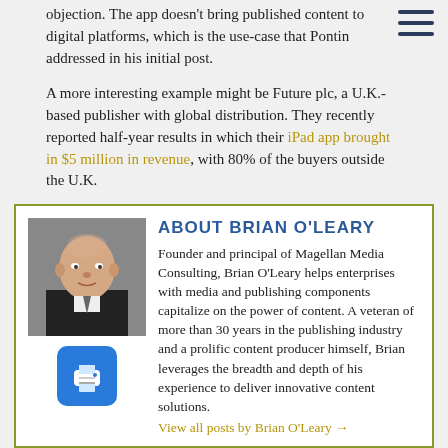objection. The app doesn't bring published content to digital platforms, which is the use-case that Pontin addressed in his initial post.
A more interesting example might be Future plc, a U.K.-based publisher with global distribution. They recently reported half-year results in which their iPad app brought in $5 million in revenue, with 80% of the buyers outside the U.K.
Of course, it also appears that Future bet big on the iPad and Apple's Newsstand platform, to the exclusion of other media. Maybe the publisher realized the cost of trying to control everything really is too high.
[Figure (photo): Headshot photo of Brian O'Leary, a bald man in a dark suit]
ABOUT BRIAN O'LEARY
Founder and principal of Magellan Media Consulting, Brian O'Leary helps enterprises with media and publishing components capitalize on the power of content. A veteran of more than 30 years in the publishing industry and a prolific content producer himself, Brian leverages the breadth and depth of his experience to deliver innovative content solutions.
View all posts by Brian O'Leary →